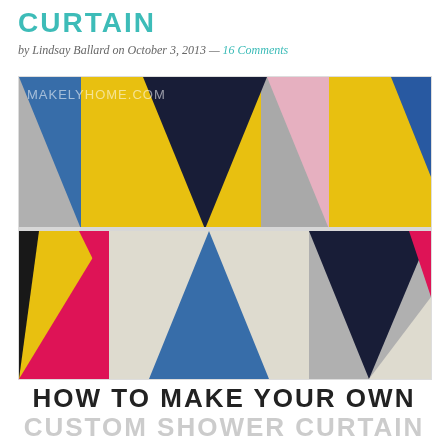CURTAIN
by Lindsay Ballard on October 3, 2013 — 16 Comments
[Figure (photo): Close-up photo of a colorful geometric triangle-patterned shower curtain. Triangles in yellow, blue (royal and navy), pink/magenta, gray, black, and white arranged in a repeating pattern. Watermark reads MAKELYHOME.COM in white text.]
HOW TO MAKE YOUR OWN CUSTOM SHOWER CURTAIN